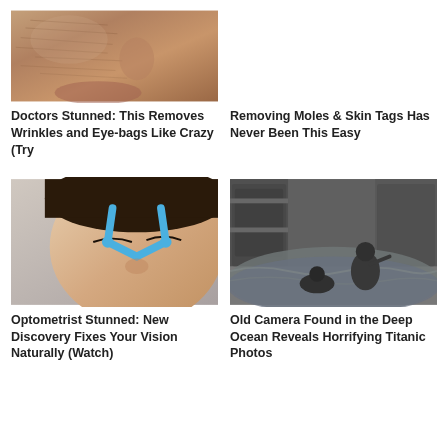[Figure (photo): Close-up photo of elderly skin with wrinkles around nose and mouth area]
[Figure (photo): Empty white space / no image shown for top right article]
Doctors Stunned: This Removes Wrinkles and Eye-bags Like Crazy (Try
Removing Moles & Skin Tags Has Never Been This Easy
[Figure (photo): Woman with eyes closed using blue Y-shaped facial massage tool on her nose/eye area]
[Figure (photo): Black and white photo of two people in flooding water inside ornate room, Titanic scene]
Optometrist Stunned: New Discovery Fixes Your Vision Naturally (Watch)
Old Camera Found in the Deep Ocean Reveals Horrifying Titanic Photos